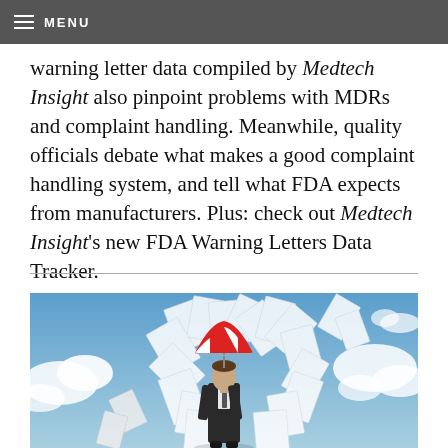MENU
warning letter data compiled by Medtech Insight also pinpoint problems with MDRs and complaint handling. Meanwhile, quality officials debate what makes a good complaint handling system, and tell what FDA expects from manufacturers. Plus: check out Medtech Insight's new FDA Warning Letters Data Tracker.
[Figure (photo): A man in a dark suit holding a red and white umbrella, standing in front of a swirling mass of flying papers, with a blue sky and clouds in the background.]